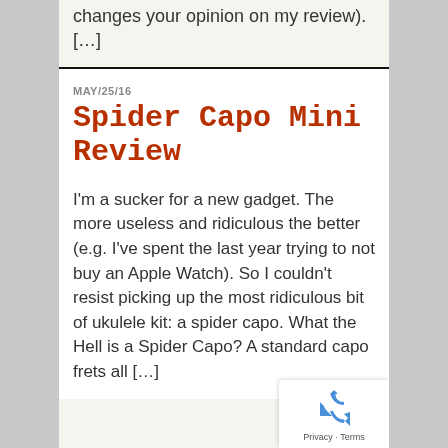changes your opinion on my review). […]
MAY/25/16
Spider Capo Mini Review
I'm a sucker for a new gadget. The more useless and ridiculous the better (e.g. I've spent the last year trying to not buy an Apple Watch). So I couldn't resist picking up the most ridiculous bit of ukulele kit: a spider capo. What the Hell is a Spider Capo? A standard capo frets all […]
[Figure (other): reCAPTCHA widget with recycling symbol icon and Privacy · Terms links]